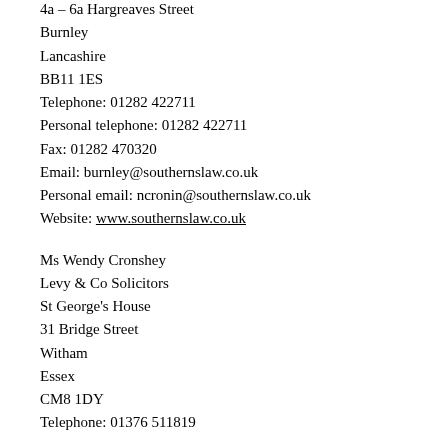4a – 6a Hargreaves Street
Burnley
Lancashire
BB11 1ES
Telephone: 01282 422711
Personal telephone: 01282 422711
Fax: 01282 470320
Email: burnley@southernslaw.co.uk
Personal email: ncronin@southernslaw.co.uk
Website: www.southernslaw.co.uk
Ms Wendy Cronshey
Levy & Co Solicitors
St George's House
31 Bridge Street
Witham
Essex
CM8 1DY
Telephone: 01376 511819